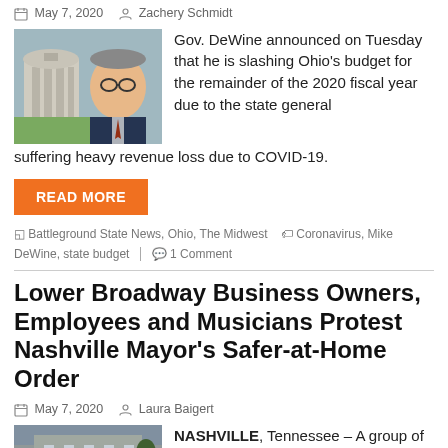May 7, 2020  Zachery Schmidt
[Figure (photo): Headshot photo of Gov. DeWine wearing glasses and a suit, with a building in the background.]
Gov. DeWine announced on Tuesday that he is slashing Ohio's budget for the remainder of the 2020 fiscal year due to the state general suffering heavy revenue loss due to COVID-19.
READ MORE
Battleground State News, Ohio, The Midwest   Coronavirus, Mike DeWine, state budget  1 Comment
Lower Broadway Business Owners, Employees and Musicians Protest Nashville Mayor's Safer-at-Home Order
May 7, 2020  Laura Baigert
[Figure (photo): A group of protesters gathered on a street outside a government building.]
NASHVILLE, Tennessee – A group of business owners, employees and musicians gathered Tuesday outside Metro Nashville City Hall to